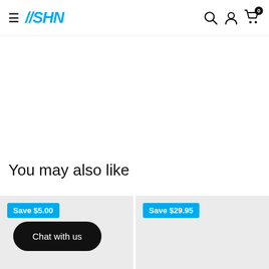SHN
You may also like
Save $5.00
Chat with us
Save $29.95